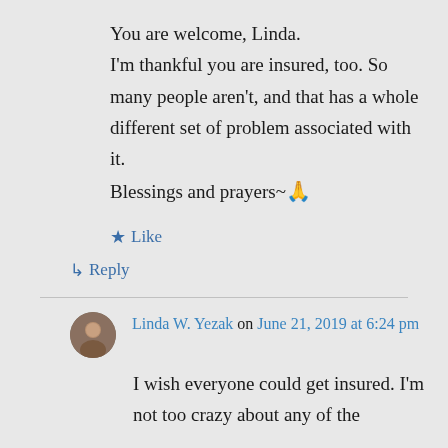You are welcome, Linda.
I'm thankful you are insured, too. So many people aren't, and that has a whole different set of problem associated with it.
Blessings and prayers~🙏
★ Like
↳ Reply
Linda W. Yezak on June 21, 2019 at 6:24 pm
I wish everyone could get insured. I'm not too crazy about any of the